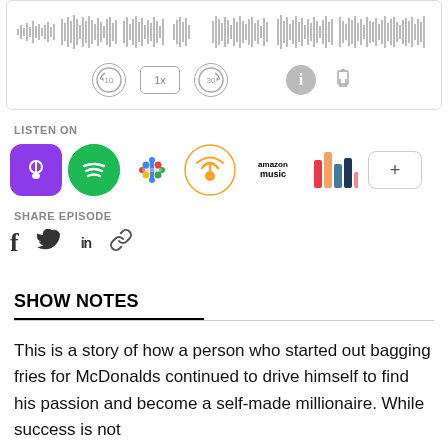[Figure (other): Podcast audio player with waveform visualization and playback controls (skip back 10s, 1x speed, skip forward 30s, info button, share button)]
LISTEN ON
[Figure (other): Podcast platform icons: Apple Podcasts, Spotify, Google Podcasts, Overcast, Amazon Music, Charts (iHeart/other), and a + (more) button]
SHARE EPISODE
[Figure (other): Social sharing icons: Facebook (f), Twitter (bird), LinkedIn (in), and link/chain icon]
SHOW NOTES
This is a story of how a person who started out bagging fries for McDonalds continued to drive himself to find his passion and become a self-made millionaire. While success is not